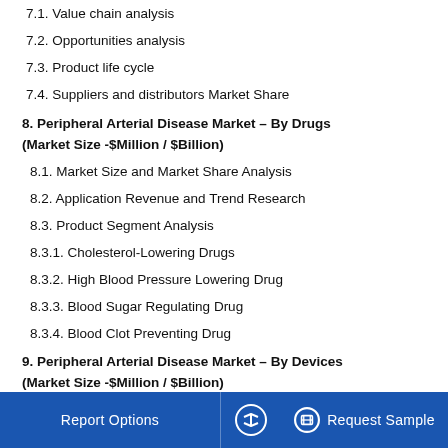7.1. Value chain analysis
7.2. Opportunities analysis
7.3. Product life cycle
7.4. Suppliers and distributors Market Share
8. Peripheral Arterial Disease Market – By Drugs (Market Size -$Million / $Billion)
8.1. Market Size and Market Share Analysis
8.2. Application Revenue and Trend Research
8.3. Product Segment Analysis
8.3.1. Cholesterol-Lowering Drugs
8.3.2. High Blood Pressure Lowering Drug
8.3.3. Blood Sugar Regulating Drug
8.3.4. Blood Clot Preventing Drug
9. Peripheral Arterial Disease Market – By Devices (Market Size -$Million / $Billion)
9.1. Peripheral Vascular Stents
Report Options    ^    Request Sample